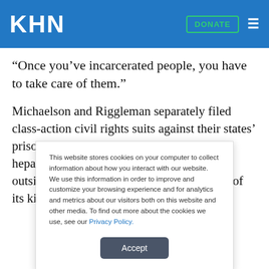KHN
“Once you’ve incarcerated people, you have to take care of them.”
Michaelson and Riggleman separately filed class-action civil rights suits against their states’ prison systems for not treating inmates with hepatitis C. Michaelson’s suit, assisted by outside counsel, was the country’s first suit of its kind and Riggleman’s
This website stores cookies on your computer to collect information about how you interact with our website. We use this information in order to improve and customize your browsing experience and for analytics and metrics about our visitors both on this website and other media. To find out more about the cookies we use, see our Privacy Policy.